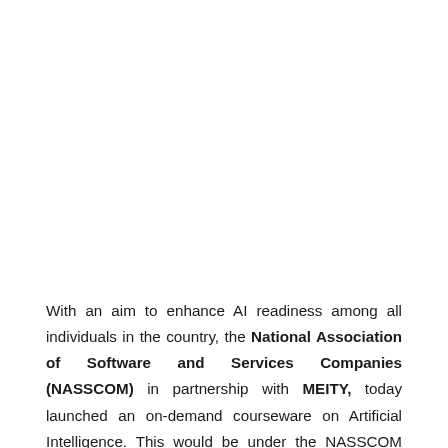With an aim to enhance AI readiness among all individuals in the country, the National Association of Software and Services Companies (NASSCOM) in partnership with MEITY, today launched an on-demand courseware on Artificial Intelligence. This would be under the NASSCOM FutureSkills initiative and will allow individuals to upskill themselves over the course of the next few weeks.